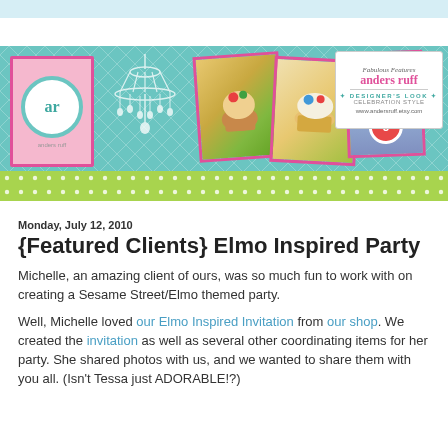[Figure (illustration): Anders Ruff blog banner with teal/aqua polka dot background, a pink invitation card with 'ar' logo, a white chandelier illustration, photo collage cards with party food and Elmo-themed decorations, and an Anders Ruff Fabulous Features badge in the top right corner.]
Monday, July 12, 2010
{Featured Clients} Elmo Inspired Party
Michelle, an amazing client of ours, was so much fun to work with on creating a Sesame Street/Elmo themed party.
Well, Michelle loved our Elmo Inspired Invitation from our shop. We created the invitation as well as several other coordinating items for her party. She shared photos with us, and we wanted to share them with you all. (Isn't Tessa just ADORABLE!?)